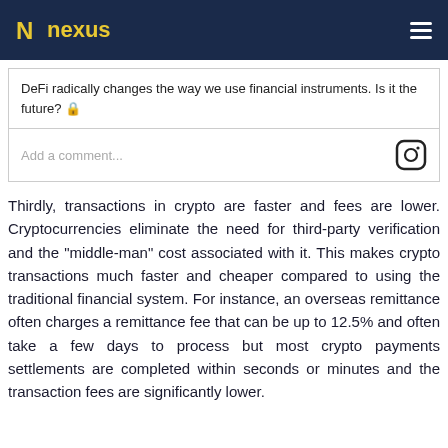N nexus
DeFi radically changes the way we use financial instruments. Is it the future? 🔒
Add a comment...
Thirdly, transactions in crypto are faster and fees are lower. Cryptocurrencies eliminate the need for third-party verification and the "middle-man" cost associated with it. This makes crypto transactions much faster and cheaper compared to using the traditional financial system. For instance, an overseas remittance often charges a remittance fee that can be up to 12.5% and often take a few days to process but most crypto payments settlements are completed within seconds or minutes and the transaction fees are significantly lower.